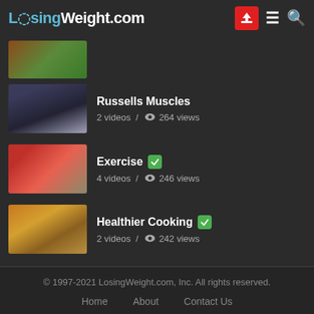LosingWeight.com
[Figure (screenshot): Thumbnail image - partially visible, orange/green colors]
Russells Muscles - 2 videos / 264 views
Exercise - 4 videos / 246 views
Healthier Cooking - 2 videos / 242 views
© 1997-2021 LosingWeight.com, Inc. All rights reserved. Home About Contact Us